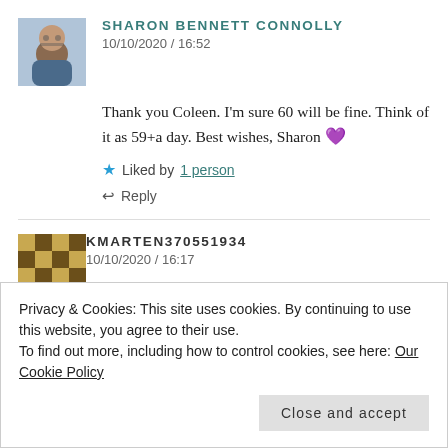[Figure (photo): Profile photo of Sharon Bennett Connolly, small square avatar showing a person with glasses]
SHARON BENNETT CONNOLLY
10/10/2020 / 16:52
Thank you Coleen. I'm sure 60 will be fine. Think of it as 59+a day. Best wishes, Sharon 💜
★ Liked by 1 person
↩ Reply
[Figure (illustration): Default avatar for kmarten370551934, geometric pattern in gold and brown]
KMARTEN370551934
10/10/2020 / 16:17
Privacy & Cookies: This site uses cookies. By continuing to use this website, you agree to their use.
To find out more, including how to control cookies, see here: Our Cookie Policy
Close and accept